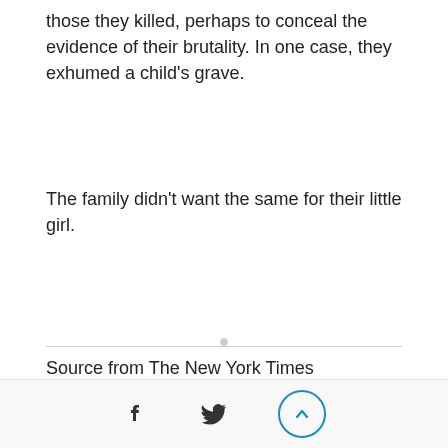those they killed, perhaps to conceal the evidence of their brutality. In one case, they exhumed a child's grave.
The family didn't want the same for their little girl.
Source from The New York Times
Link : https://www.nytimes.com/2021/04/04/world/asia/myanmar-coup-deaths-children.html?searchResultPosition=9
[Facebook icon] [Twitter icon] [Scroll up button]